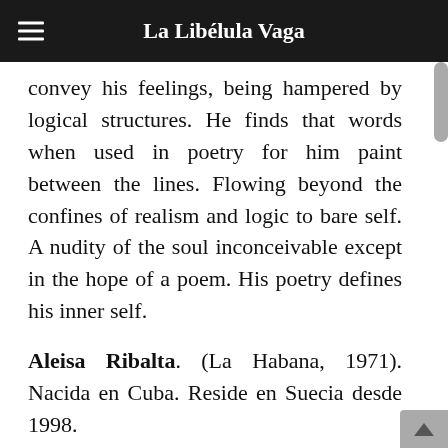La Libélula Vaga
convey his feelings, being hampered by logical structures. He finds that words when used in poetry for him paint between the lines. Flowing beyond the confines of realism and logic to bare self. A nudity of the soul inconceivable except in the hope of a poem. His poetry defines his inner self.
Aleisa Ribalta. (La Habana, 1971). Nacida en Cuba. Reside en Suecia desde 1998. Es poeta, traductora y coordinadora cultural.